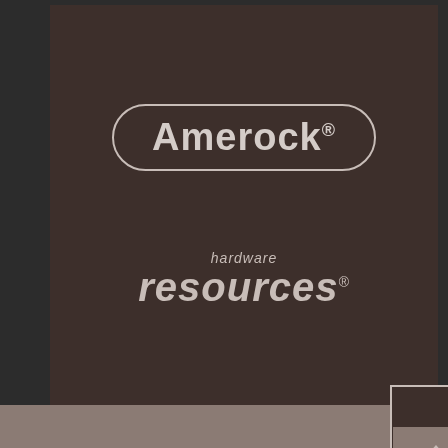[Figure (logo): Amerock logo: rounded rectangle border containing bold text 'Amerock' with registered trademark symbol, in light beige/cream color on dark brown background]
[Figure (logo): Hardware Resources logo: italic 'hardware' in smaller text above large bold italic 'resources' text with registered trademark, in light beige/cream color on dark brown background]
Organizational